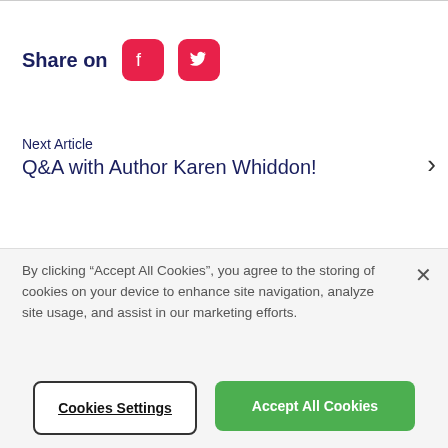Share on
[Figure (logo): Facebook logo icon in red rounded square]
[Figure (logo): Twitter bird logo icon in red rounded square]
Next Article
Q&A with Author Karen Whiddon!
By clicking “Accept All Cookies”, you agree to the storing of cookies on your device to enhance site navigation, analyze site usage, and assist in our marketing efforts.
Cookies Settings
Accept All Cookies